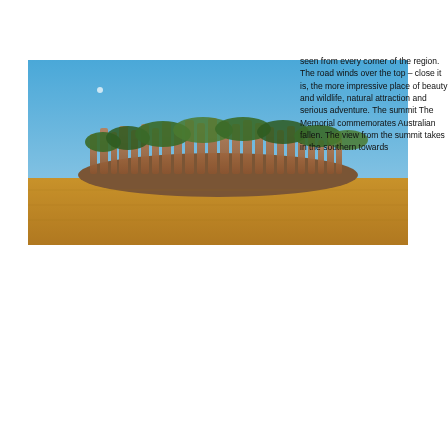[Figure (photo): Landscape photograph of a rocky mesa or inselberg formation with distinctive vertical rock columns across the top, surrounded by green trees, set against a clear blue sky, with golden grassland in the foreground.]
seen from every corner of the region. The road winds over the top – close it is, the more impressive place of beauty and wildlife, natural attraction and serious adventure. The summit The Memorial commemorates Australian fallen. The view from the summit takes in the southern towards